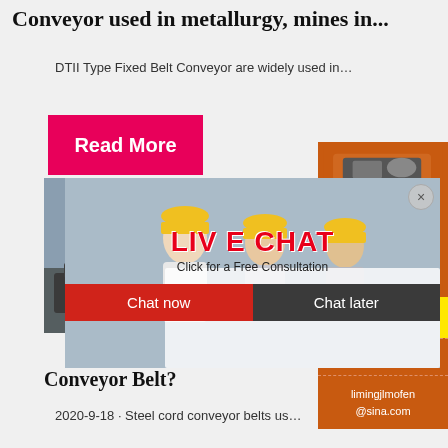Conveyor used in metallurgy, mines in...
DTII Type Fixed Belt Conveyor are widely used in...
Read More
[Figure (photo): Live chat popup overlay showing workers in yellow hard hats with LIVE CHAT text, Click for a Free Consultation, Chat now and Chat later buttons]
[Figure (photo): Orange advertisement panel on right side showing mining machinery, Enjoy 3% discount, Click to Chat, Enquiry, and email limingjlmofen@sina.com]
Conveyor Belt?
2020-9-18 · Steel cord conveyor belts us...